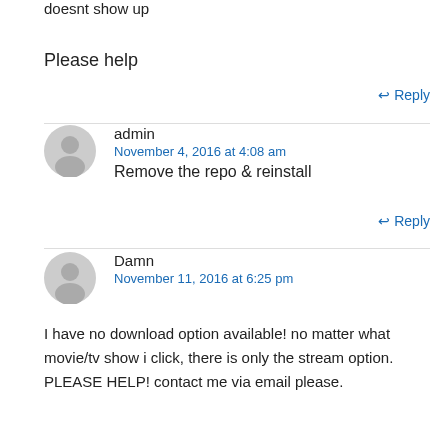doesnt show up
Please help
Reply
admin
November 4, 2016 at 4:08 am
Remove the repo & reinstall
Reply
Damn
November 11, 2016 at 6:25 pm
I have no download option available! no matter what movie/tv show i click, there is only the stream option. PLEASE HELP! contact me via email please.